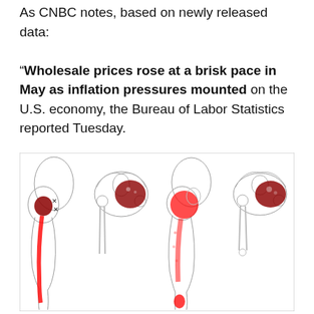As CNBC notes, based on newly released data: “Wholesale prices rose at a brisk pace in May as inflation pressures mounted on the U.S. economy, the Bureau of Labor Statistics reported Tuesday.
[Figure (illustration): Four anatomical diagrams of the human lower body (posterior and anterior views) showing red highlighted areas indicating pain or trigger points in the gluteal region and posterior thigh/leg muscles, with skeletal structures visible.]